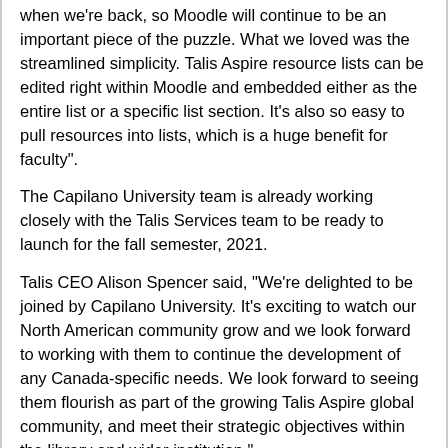when we're back, so Moodle will continue to be an important piece of the puzzle. What we loved was the streamlined simplicity. Talis Aspire resource lists can be edited right within Moodle and embedded either as the entire list or a specific list section. It's also so easy to pull resources into lists, which is a huge benefit for faculty".
The Capilano University team is already working closely with the Talis Services team to be ready to launch for the fall semester, 2021.
Talis CEO Alison Spencer said, "We're delighted to be joined by Capilano University. It's exciting to watch our North American community grow and we look forward to working with them to continue the development of any Canada-specific needs. We look forward to seeing them flourish as part of the growing Talis Aspire global community, and meet their strategic objectives within the library and wider institution."
About Capilano University
Capilano University is a teaching-focused university based in North Vancouver, with programming serving the Sunshine Coast and the Sea-to-Sky corridor. The University offers 94 programs, including bachelor degrees, associate degrees,